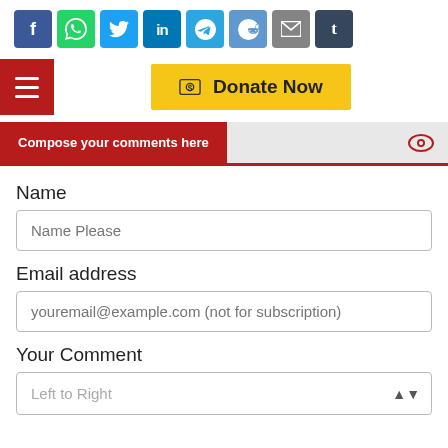[Figure (infographic): Row of social share icons: Facebook (blue), WhatsApp (green), Twitter (light blue), LinkedIn (blue), Telegram (light blue), Reddit (slate blue), Email (gray), Tumblr (dark blue)]
[Figure (infographic): Hamburger menu button (red) on the left and a yellow Donate Now button with a coin icon in the center]
Compose your comments here
Name
Name Please
Email address
youremail@example.com (not for subscription)
Your Comment
Left to Right